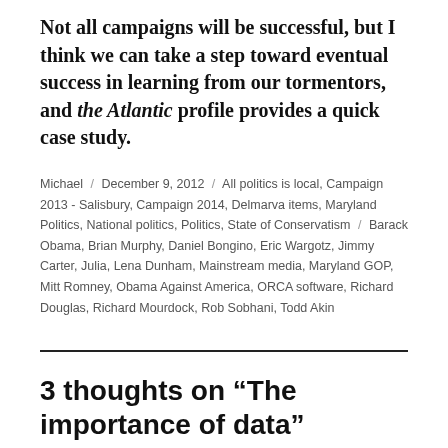Not all campaigns will be successful, but I think we can take a step toward eventual success in learning from our tormentors, and the Atlantic profile provides a quick case study.
Michael / December 9, 2012 / All politics is local, Campaign 2013 - Salisbury, Campaign 2014, Delmarva items, Maryland Politics, National politics, Politics, State of Conservatism / Barack Obama, Brian Murphy, Daniel Bongino, Eric Wargotz, Jimmy Carter, Julia, Lena Dunham, Mainstream media, Maryland GOP, Mitt Romney, Obama Against America, ORCA software, Richard Douglas, Richard Mourdock, Rob Sobhani, Todd Akin
3 thoughts on “The importance of data”